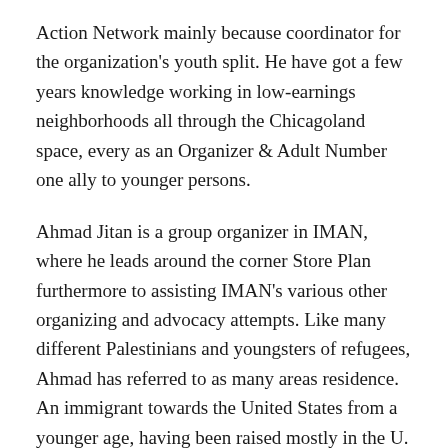Action Network mainly because coordinator for the organization's youth split. He have got a few years knowledge working in low-earnings neighborhoods all through the Chicagoland space, every as an Organizer & Adult Number one ally to younger persons.
Ahmad Jitan is a group organizer in IMAN, where he leads around the corner Store Plan furthermore to assisting IMAN's various other organizing and advocacy attempts. Like many different Palestinians and youngsters of refugees, Ahmad has referred to as many areas residence. An immigrant towards the United States from a younger age, having been raised mostly in the U. S. Southern region, whose tradition of level of resistance and resilience he holds with him to this the modern. Ahmad offers labored simply because an educator and community organizer advocating pertaining to younger individuals, racial proper rights, and immigrant and